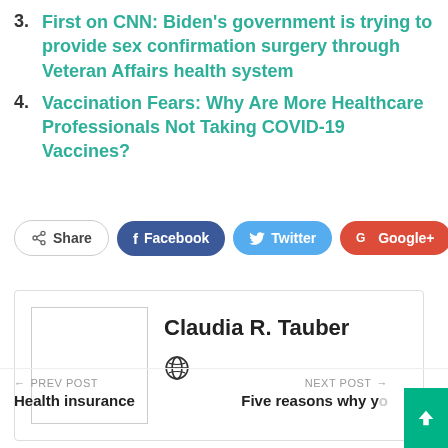3. First on CNN: Biden's government is trying to provide sex confirmation surgery through Veteran Affairs health system
4. Vaccination Fears: Why Are More Healthcare Professionals Not Taking COVID-19 Vaccines?
[Figure (infographic): Social share buttons: Share, Facebook, Twitter, Google+, plus button]
[Figure (infographic): Author card for Claudia R. Tauber with placeholder image and globe icon]
PREV POST — Health insurance ... | NEXT POST — Five reasons why y...